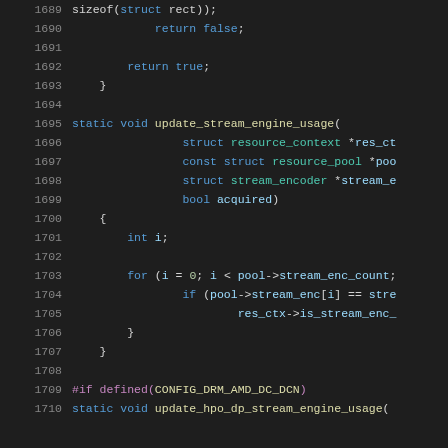Source code listing lines 1689-1710, C programming language with syntax highlighting
1689: sizeof(struct rect));
1690:     return false;
1691:
1692:     return true;
1693: }
1694:
1695: static void update_stream_engine_usage(
1696:         struct resource_context *res_ct
1697:         const struct resource_pool *poo
1698:         struct stream_encoder *stream_e
1699:         bool acquired)
1700: {
1701:     int i;
1702:
1703:     for (i = 0; i < pool->stream_enc_count;
1704:         if (pool->stream_enc[i] == stre
1705:             res_ctx->is_stream_enc_
1706:     }
1707: }
1708:
1709: #if defined(CONFIG_DRM_AMD_DC_DCN)
1710: static void update_hpo_dp_stream_engine_usage(